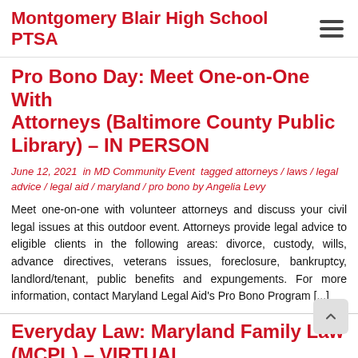Montgomery Blair High School PTSA
Pro Bono Day: Meet One-on-One With Attorneys (Baltimore County Public Library) – IN PERSON
June 12, 2021 in MD Community Event tagged attorneys / laws / legal advice / legal aid / maryland / pro bono by Angelia Levy
Meet one-on-one with volunteer attorneys and discuss your civil legal issues at this outdoor event. Attorneys provide legal advice to eligible clients in the following areas: divorce, custody, wills, advance directives, veterans issues, foreclosure, bankruptcy, landlord/tenant, public benefits and expungements. For more information, contact Maryland Legal Aid's Pro Bono Program [...]
Everyday Law: Maryland Family Law (MCPL) – VIRTUAL